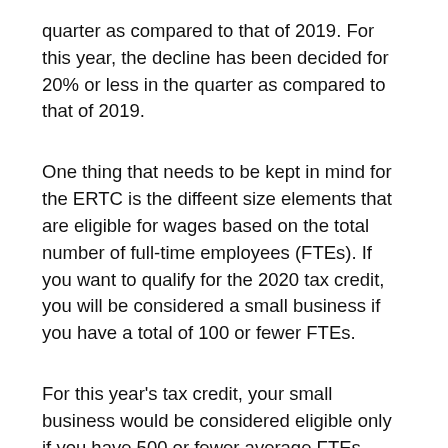quarter as compared to that of 2019. For this year, the decline has been decided for 20% or less in the quarter as compared to that of 2019.
One thing that needs to be kept in mind for the ERTC is the different size elements that are eligible for wages based on the total number of full-time employees (FTEs). If you want to qualify for the 2020 tax credit, you will be considered a small business if you have a total of 100 or fewer FTEs.
For this year's tax credit, your small business would be considered eligible only if you have 500 or fewer average FTEs.